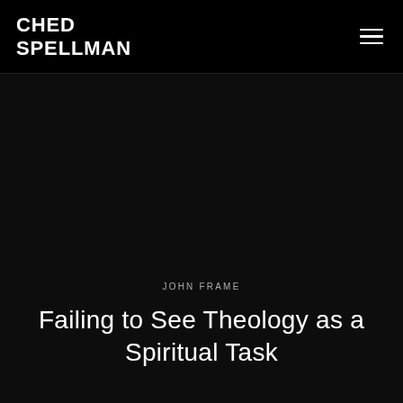CHED SPELLMAN
JOHN FRAME
Failing to See Theology as a Spiritual Task